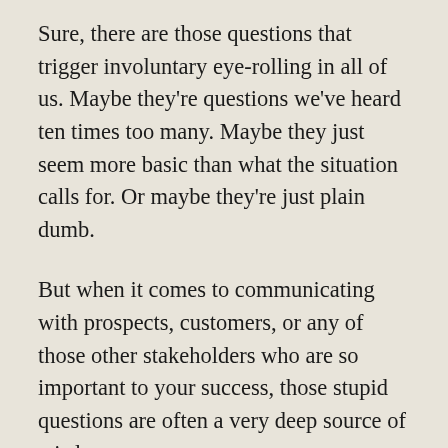Sure, there are those questions that trigger involuntary eye-rolling in all of us. Maybe they're questions we've heard ten times too many. Maybe they just seem more basic than what the situation calls for. Or maybe they're just plain dumb.
But when it comes to communicating with prospects, customers, or any of those other stakeholders who are so important to your success, those stupid questions are often a very deep source of wisdom.
In fact, I'm so convinced that stupid questions are so powerful that I regularly ask clients about the questions that drive